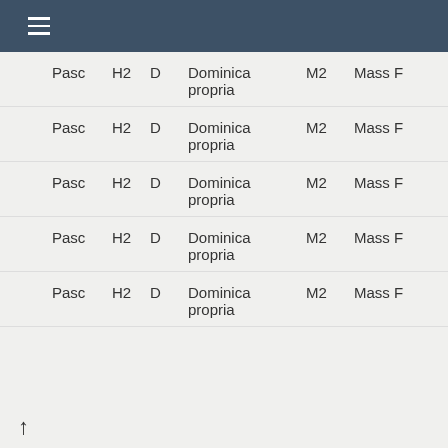≡ (menu)
| Col1 | Col2 | Col3 | Col4 | Col5 | Col6 |
| --- | --- | --- | --- | --- | --- |
| Pasc | H2 | D | Dominica propria | M2 | Mass F |
| Pasc | H2 | D | Dominica propria | M2 | Mass F |
| Pasc | H2 | D | Dominica propria | M2 | Mass F |
| Pasc | H2 | D | Dominica propria | M2 | Mass F |
| Pasc | H2 | D | Dominica propria | M2 | Mass F |
↑
| Pasc | H2 | f4 |  | M2 | Mass F |